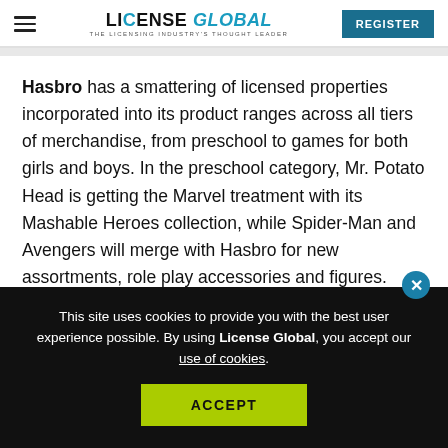LICENSE GLOBAL — THE LICENSING INDUSTRY'S THOUGHT LEADER | REGISTER
Hasbro has a smattering of licensed properties incorporated into its product ranges across all tiers of merchandise, from preschool to games for both girls and boys. In the preschool category, Mr. Potato Head is getting the Marvel treatment with its Mashable Heroes collection, while Spider-Man and Avengers will merge with Hasbro for new assortments, role play accessories and figures. And, of course, Hasbro has planned an infusion of new items fo:
This site uses cookies to provide you with the best user experience possible. By using License Global, you accept our use of cookies.